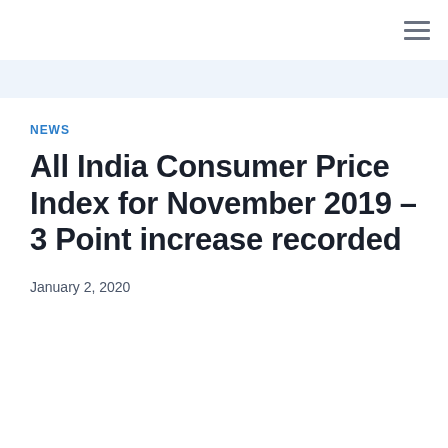≡
NEWS
All India Consumer Price Index for November 2019 – 3 Point increase recorded
January 2, 2020